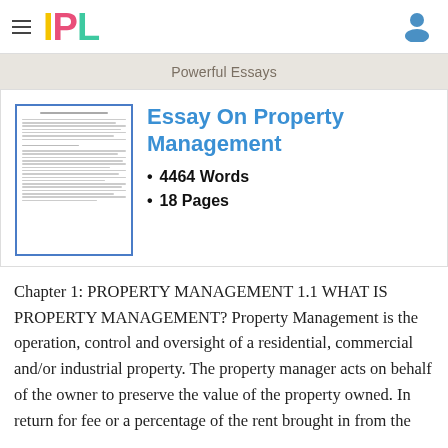IPL
Powerful Essays
[Figure (illustration): Thumbnail preview of a multi-page essay document with blue border]
Essay On Property Management
4464 Words
18 Pages
Chapter 1: PROPERTY MANAGEMENT 1.1 WHAT IS PROPERTY MANAGEMENT? Property Management is the operation, control and oversight of a residential, commercial and/or industrial property. The property manager acts on behalf of the owner to preserve the value of the property owned. In return for fee or a percentage of the rent brought in from the